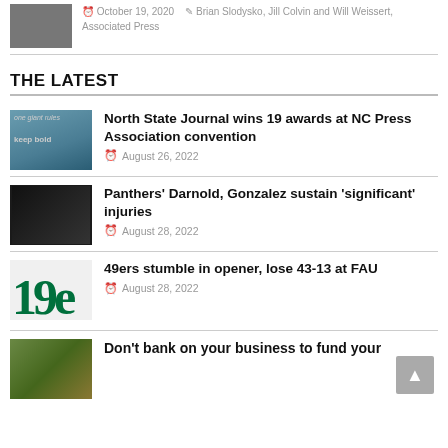[Figure (photo): Photo of people, top-left thumbnail]
October 19, 2020
Brian Slodysko, Jill Colvin and Will Weissert, Associated Press
THE LATEST
[Figure (photo): Landscape/coastal photo with text overlay 'one giant rules' 'keep bold']
North State Journal wins 19 awards at NC Press Association convention
August 26, 2022
[Figure (photo): Panthers football player on field]
Panthers' Darnold, Gonzalez sustain 'significant' injuries
August 28, 2022
[Figure (logo): 49ers green number 19 logo]
49ers stumble in opener, lose 43-13 at FAU
August 28, 2022
[Figure (photo): Partial bottom thumbnail, colorful]
Don't bank on your business to fund your